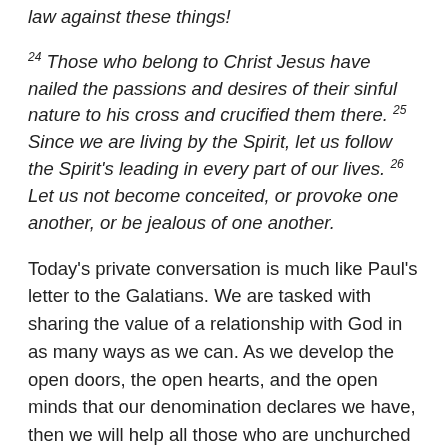law against these things!
24 Those who belong to Christ Jesus have nailed the passions and desires of their sinful nature to his cross and crucified them there. 25 Since we are living by the Spirit, let us follow the Spirit's leading in every part of our lives. 26 Let us not become conceited, or provoke one another, or be jealous of one another.
Today's private conversation is much like Paul's letter to the Galatians. We are tasked with sharing the value of a relationship with God in as many ways as we can. As we develop the open doors, the open hearts, and the open minds that our denomination declares we have, then we will help all those who are unchurched or who turned away from God and/or the church at some point in their lives.
May we use Paul's words, the guiding words from all of the